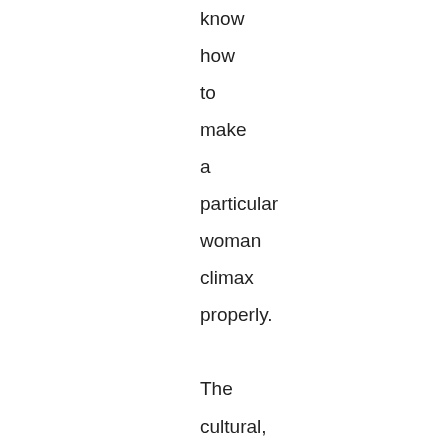know how to make a particular woman climax properly.

The cultural, learned aspect of female orgasm is amplified by our propensity for love at an emotional and intellectual level. Anthropologist